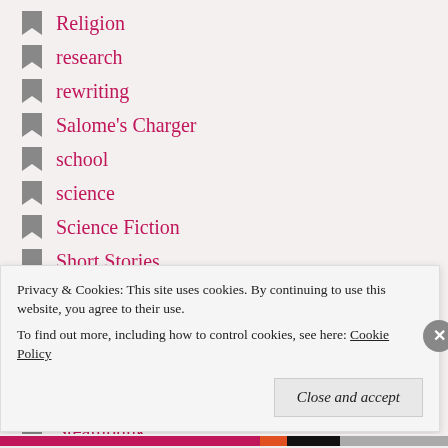Religion
research
rewriting
Salome's Charger
school
science
Science Fiction
Short Stories
Skyrim
soul
Soul Survivor
Speaking
Steampunk
Privacy & Cookies: This site uses cookies. By continuing to use this website, you agree to their use. To find out more, including how to control cookies, see here: Cookie Policy
Close and accept